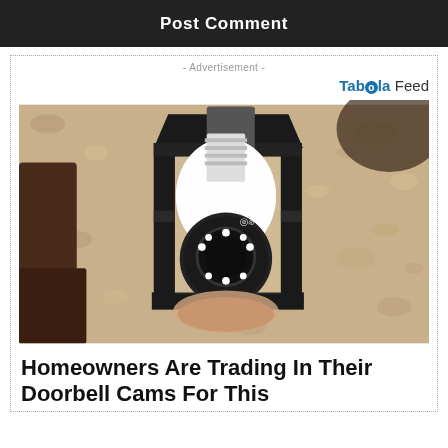Post Comment
- Advertisement -
[Figure (logo): Taboola Feed logo with blue bold text and circle icon]
[Figure (photo): A security camera shaped like a light bulb installed in an outdoor black lantern-style fixture mounted on a textured stucco wall]
Homeowners Are Trading In Their Doorbell Cams For This